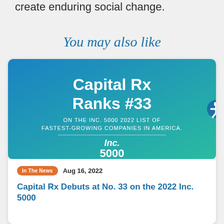create enduring social change.
You may also like
[Figure (infographic): Capital Rx Ranks #33 on the Inc. 5000 2022 list of fastest-growing companies in America. Blue gradient background with Inc. 5000 logo.]
In The News  Aug 16, 2022
Capital Rx Debuts at No. 33 on the 2022 Inc. 5000